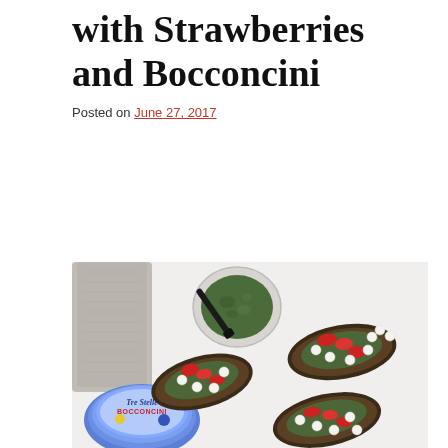with Strawberries and Bocconcini
Posted on June 27, 2017
[Figure (photo): Overhead food photo showing toast/crostini topped with pesto, sliced strawberries and bocconcini cheese balls, alongside a small white bowl of pesto with a black spreader, a grey linen napkin, and a round blue Tre Stelle Bocconcini cheese container.]